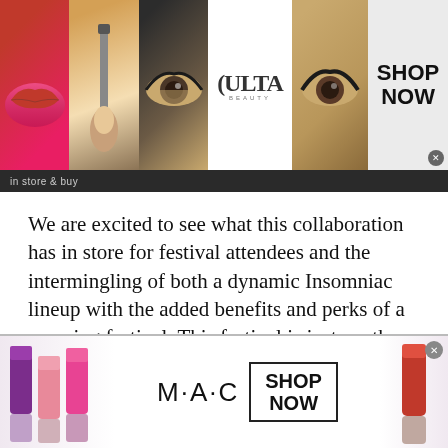[Figure (screenshot): Top advertisement banner for ULTA Beauty featuring makeup photos (lips, brush, eye), ULTA logo, and SHOP NOW button on grey background]
[Figure (screenshot): Dark sub-bar with small text 'in store & buy']
We are excited to see what this collaboration has in store for festival attendees and the intermingling of both a dynamic Insomniac lineup with the added benefits and perks of a camping festival. This festival is just another step in the growing vision of what music festivals can, and will, become
We use cookies on our website to give you the most relevant experience by remembering your preferences and repeat visits. By clicking “Accept All”, you consent to the use of ALL
[Figure (screenshot): Bottom advertisement banner for M·A·C cosmetics featuring lipsticks on left and right, M·A·C logo in center, and SHOP NOW button in box]